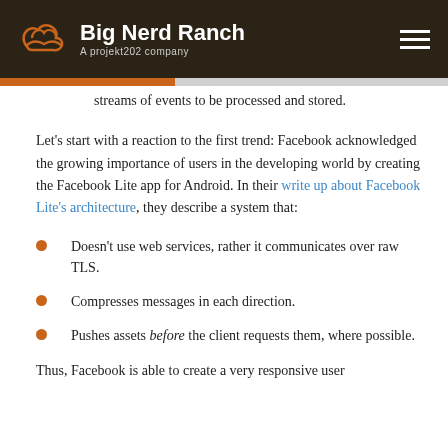Big Nerd Ranch — A projekt202 company
streams of events to be processed and stored.
Let's start with a reaction to the first trend: Facebook acknowledged the growing importance of users in the developing world by creating the Facebook Lite app for Android. In their write up about Facebook Lite's architecture, they describe a system that:
Doesn't use web services, rather it communicates over raw TLS.
Compresses messages in each direction.
Pushes assets before the client requests them, where possible.
Thus, Facebook is able to create a very responsive user